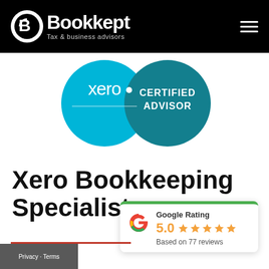[Figure (logo): Bookkept Tax & business advisors logo on black header bar with hamburger menu]
[Figure (logo): Xero Certified Advisor badge — two overlapping circles: light blue with 'xero' text and teal with 'CERTIFIED ADVISOR' text]
Xero Bookkeeping Specialists
[Figure (infographic): Google Rating card showing 5.0 stars, based on 77 reviews with green top border and Google G logo]